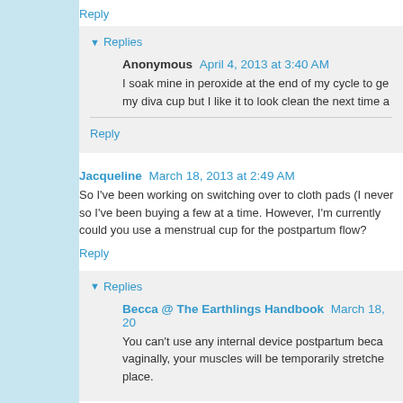Reply
▼ Replies
Anonymous  April 4, 2013 at 3:40 AM
I soak mine in peroxide at the end of my cycle to ge... my diva cup but I like it to look clean the next time a...
Reply
Jacqueline  March 18, 2013 at 2:49 AM
So I've been working on switching over to cloth pads (I never... so I've been buying a few at a time. However, I'm currently ... could you use a menstrual cup for the postpartum flow?
Reply
▼ Replies
Becca @ The Earthlings Handbook  March 18, 20...
You can't use any internal device postpartum beca... vaginally, your muscles will be temporarily stretche... place.